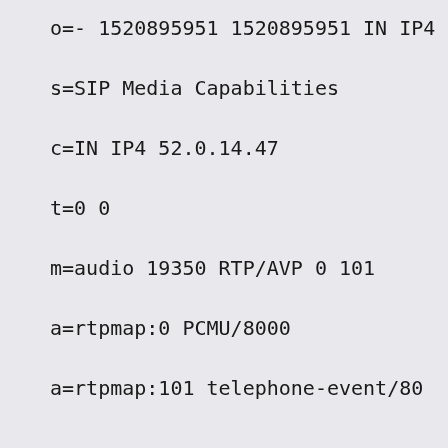o=- 1520895951 1520895951 IN IP4
s=SIP Media Capabilities
c=IN IP4 52.0.14.47
t=0 0
m=audio 19350 RTP/AVP 0 101
a=rtpmap:0 PCMU/8000
a=rtpmap:101 telephone-event/80